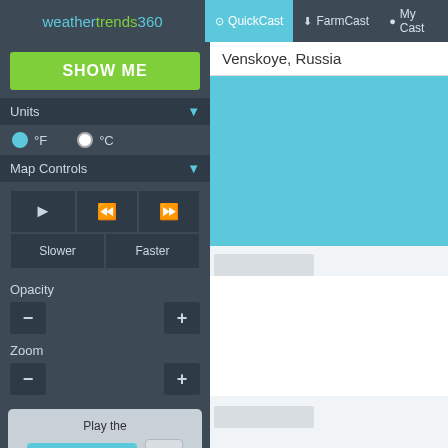weathertrends360 | QuickCast | FarmCast | My Cast
[Figure (screenshot): SHOW ME button in green]
Units
°F (selected) °C
Map Controls
[Figure (screenshot): Map controls grid with play, rewind, fast-forward, Slower, Faster buttons]
Opacity
Zoom
[Figure (screenshot): Play the QuickCast Video Tutorial box]
Venskoye, Russia